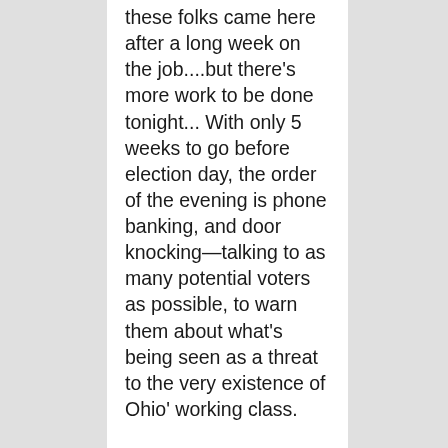these folks came here after a long week on the job....but there's more work to be done tonight... With only 5 weeks to go before election day, the order of the evening is phone banking, and door knocking—talking to as many potential voters as possible, to warn them about what's being seen as a threat to the very existence of Ohio' working class.
Gillis: "Nobody is fooled, everyone knows what this is, and it's an attack on working people..."